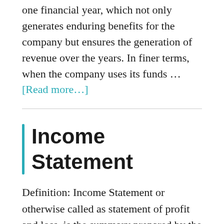one financial year, which not only generates enduring benefits for the company but ensures the generation of revenue over the years. In finer terms, when the company uses its funds … [Read more…]
Income Statement
Definition: Income Statement or otherwise called as statement of profit and loss, is the summary prepared by the company's management, reporting the revenues, expenses, gains and losses for the particular financial year. Simply put, it portrays the final result of the company's